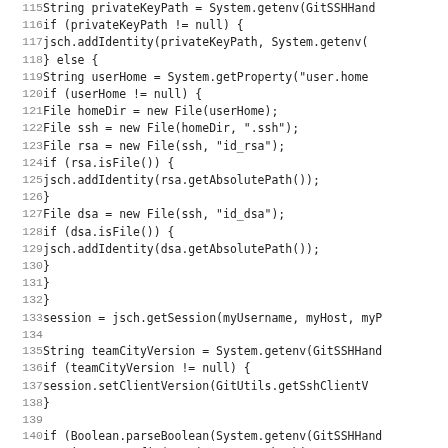[Figure (other): Source code listing in Java, lines 115-146, showing SSH key identity configuration and session setup using JSch library.]